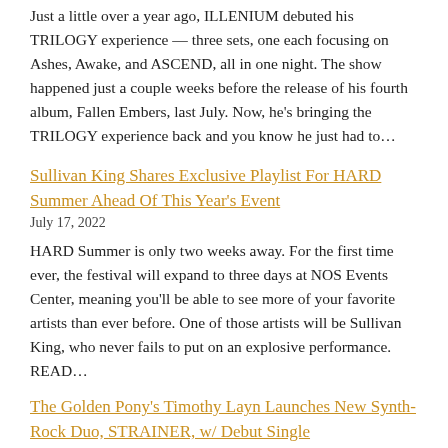Just a little over a year ago, ILLENIUM debuted his TRILOGY experience — three sets, one each focusing on Ashes, Awake, and ASCEND, all in one night. The show happened just a couple weeks before the release of his fourth album, Fallen Embers, last July. Now, he's bringing the TRILOGY experience back and you know he just had to…
Sullivan King Shares Exclusive Playlist For HARD Summer Ahead Of This Year's Event
July 17, 2022
HARD Summer is only two weeks away. For the first time ever, the festival will expand to three days at NOS Events Center, meaning you'll be able to see more of your favorite artists than ever before. One of those artists will be Sullivan King, who never fails to put on an explosive performance. READ…
The Golden Pony's Timothy Layn Launches New Synth-Rock Duo, STRAINER, w/ Debut Single